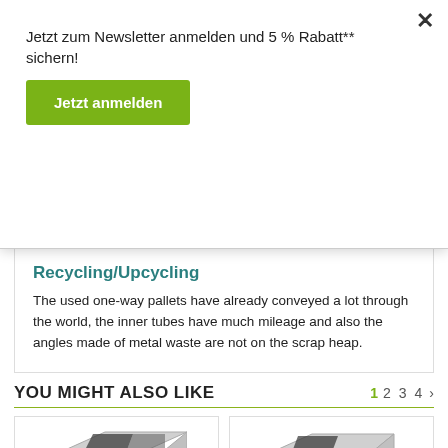Jetzt zum Newsletter anmelden und 5 % Rabatt** sichern!
Jetzt anmelden
Recycling/Upcycling
The used one-way pallets have already conveyed a lot through the world, the inner tubes have much mileage and also the angles made of metal waste are not on the scrap heap.
YOU MIGHT ALSO LIKE
1 2 3 4 >
[Figure (photo): Product photo of a metal angle/corner bracket product, silver/chrome colored, on white background]
[Figure (photo): Product photo of a similar metal angle/corner bracket product, silver/chrome colored, on white background]